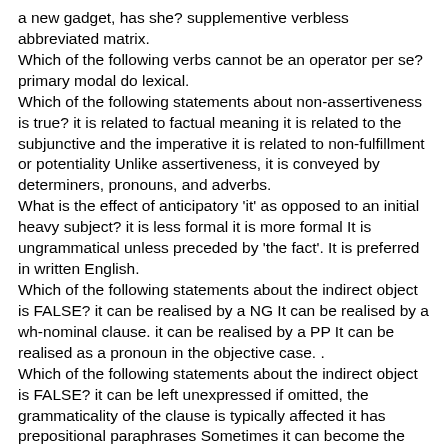a new gadget, has she? supplementive verbless abbreviated matrix.
Which of the following verbs cannot be an operator per se? primary modal do lexical.
Which of the following statements about non-assertiveness is true? it is related to factual meaning it is related to the subjunctive and the imperative it is related to non-fulfillment or potentiality Unlike assertiveness, it is conveyed by determiners, pronouns, and adverbs.
What is the effect of anticipatory 'it' as opposed to an initial heavy subject? it is less formal it is more formal It is ungrammatical unless preceded by 'the fact'. It is preferred in written English.
Which of the following statements about the indirect object is FALSE? it can be realised by a NG It can be realised by a wh-nominal clause. it can be realised by a PP It can be realised as a pronoun in the objective case. .
Which of the following statements about the indirect object is FALSE? it can be left unexpressed if omitted, the grammaticality of the clause is typically affected it has prepositional paraphrases Sometimes it can become the subject in a passive clause. .
Which of the following statements about English moods is true? Mood has to do with verb inflection rather than